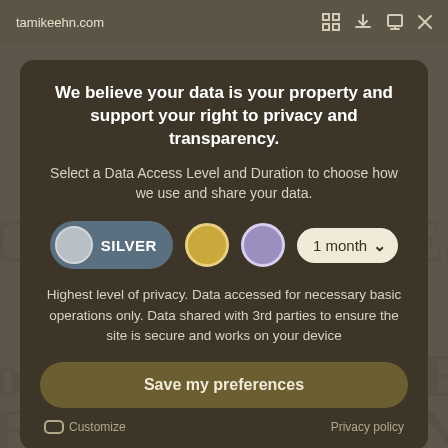tamikeehn.com
We believe your data is your property and support your right to privacy and transparency.
Select a Data Access Level and Duration to choose how we use and share your data.
SILVER | gold circle | purple circle | 1 month (dropdown)
Highest level of privacy. Data accessed for necessary basic operations only. Data shared with 3rd parties to ensure the site is secure and works on your device
Save my preferences
Customize
Privacy policy
ONLY YOUR BEST the GIFT of CONFIDENCE, EMPOWERMENT,